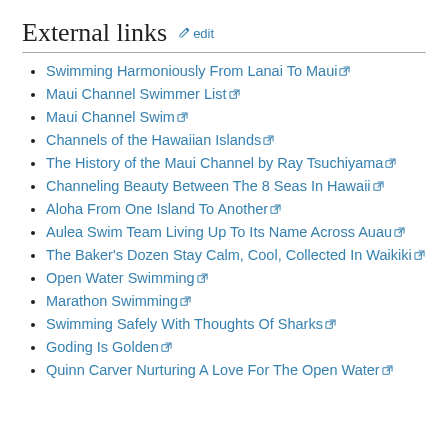External links  edit
Swimming Harmoniously From Lanai To Maui
Maui Channel Swimmer List
Maui Channel Swim
Channels of the Hawaiian Islands
The History of the Maui Channel by Ray Tsuchiyama
Channeling Beauty Between The 8 Seas In Hawaii
Aloha From One Island To Another
Aulea Swim Team Living Up To Its Name Across Auau
The Baker's Dozen Stay Calm, Cool, Collected In Waikiki
Open Water Swimming
Marathon Swimming
Swimming Safely With Thoughts Of Sharks
Goding Is Golden
Quinn Carver Nurturing A Love For The Open Water